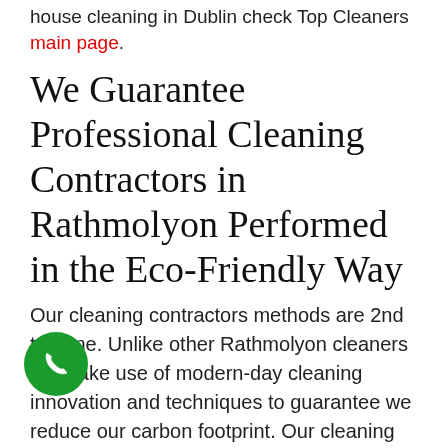house cleaning in Dublin check Top Cleaners main page.
We Guarantee Professional Cleaning Contractors in Rathmolyon Performed in the Eco-Friendly Way
Our cleaning contractors methods are 2nd to none. Unlike other Rathmolyon cleaners we make use of modern-day cleaning innovation and techniques to guarantee we reduce our carbon footprint. Our cleaning team concentrate on keeping the environment safe while providing outstanding quality services. The cleaning products we utilize are pet-friendly and